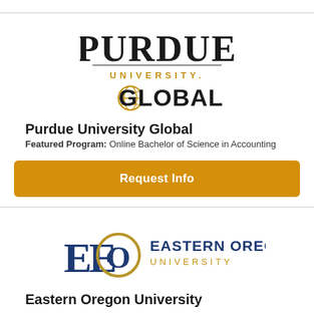[Figure (logo): Purdue University Global logo — large black serif 'PURDUE', gold 'UNIVERSITY.' text below, then black 'GLOBAL' with gold globe icon]
Purdue University Global
Featured Program: Online Bachelor of Science in Accounting
Request Info
[Figure (logo): Eastern Oregon University logo — dark blue EEO monogram with gold circle, text 'EASTERN OREGON UNIVERSITY' in dark blue and gold]
Eastern Oregon University